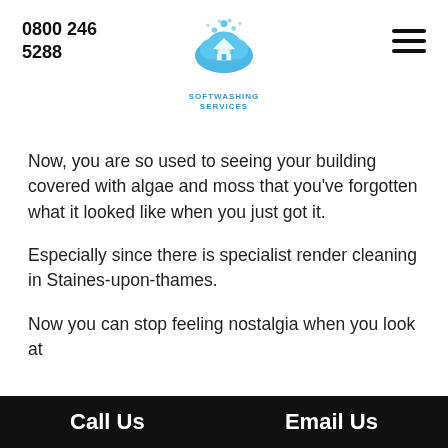0800 246 5288
[Figure (logo): Softwashing Services logo: a blue cloud with a house silhouette, bubbles above, and the text SOFTWASHING SERVICES below in blue]
Now, you are so used to seeing your building covered with algae and moss that you've forgotten what it looked like when you just got it.
Especially since there is specialist render cleaning in Staines-upon-thames.
Now you can stop feeling nostalgia when you look at
Call Us    Email Us